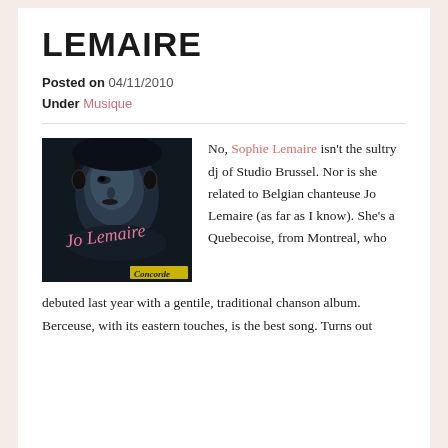LEMAIRE
Posted on 04/11/2010
Under Musique
[Figure (photo): Album cover: black and white close-up portrait of a woman wearing headphones, with pink cursive signature 'Jo Lemaire' overlaid, and 'CONCORDE' text in yellow at the bottom right]
No, Sophie Lemaire isn't the sultry dj of Studio Brussel. Nor is she related to Belgian chanteuse Jo Lemaire (as far as I know). She's a Quebecoise, from Montreal, who debuted last year with a gentile, traditional chanson album. Berceuse, with its eastern touches, is the best song. Turns out